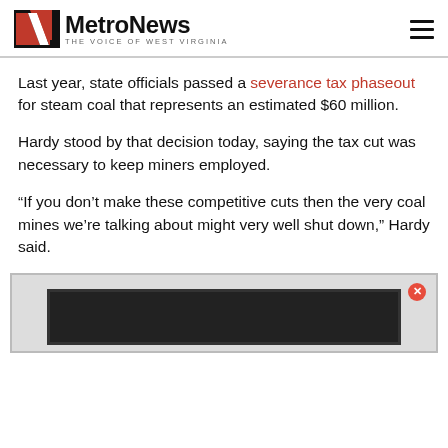MetroNews — THE VOICE OF WEST VIRGINIA
Last year, state officials passed a severance tax phaseout for steam coal that represents an estimated $60 million.
Hardy stood by that decision today, saying the tax cut was necessary to keep miners employed.
“If you don’t make these competitive cuts then the very coal mines we’re talking about might very well shut down,” Hardy said.
[Figure (other): Advertisement popup with dark border and close button (red circle with X)]